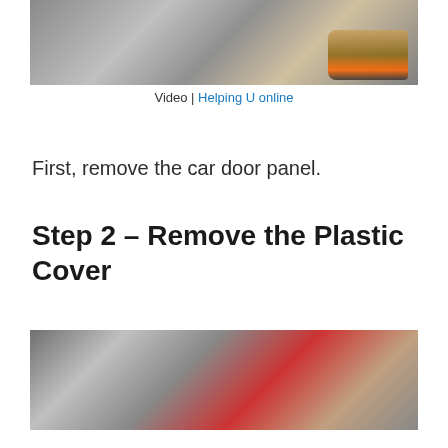[Figure (photo): Photo of a person's foot with an orange and gray sneaker near a car door frame/rocker panel area, partially cropped at top]
Video | Helping U online
First, remove the car door panel.
Step 2 – Remove the Plastic Cover
[Figure (photo): Photo of a person removing the plastic cover from a car door, visible interior car door panel and red shirt]